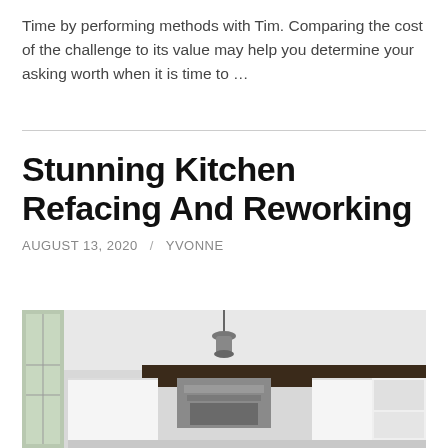Time by performing methods with Tim. Comparing the cost of the challenge to its value may help you determine your asking worth when it is time to …
Stunning Kitchen Refacing And Reworking
AUGUST 13, 2020 / YVONNE
[Figure (photo): Interior photo of a modern kitchen with white cabinets, a stainless steel range hood, a dark wooden ceiling beam, and a pendant light fixture. Large windows visible on the left side.]